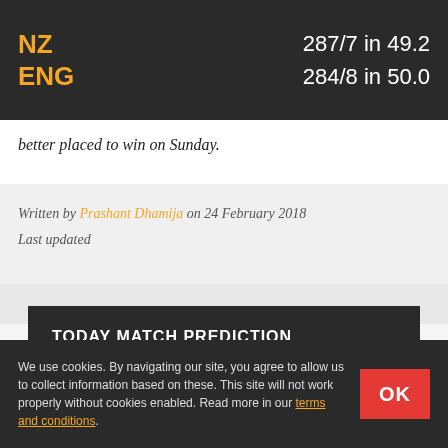NZ ENG | 287/7 in 49.2 | 284/8 in 50.0
better placed to win on Sunday.
Written by Prashant Dhamija on 24 February 2018
Last updated
TODAY MATCH PREDICTION
England To Win the Match, 2.25
We use cookies. By navigating our site, you agree to allow us to collect information based on these. This site will not work properly without cookies enabled. Read more in our terms and conditions.